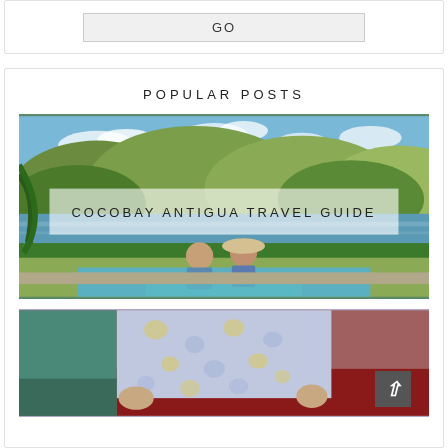[Figure (other): GO button widget inside a card with light gray background]
POPULAR POSTS
[Figure (photo): Tropical travel photo of a couple sitting in an infinity pool overlooking a bay with green hills and blue sky, with an overlay label reading COCOBAY ANTIGUA TRAVEL GUIDE]
[Figure (photo): Partial photo showing a person in a floral shirt, partially visible, with a teal/maroon background, and a back-to-top arrow button in the corner]